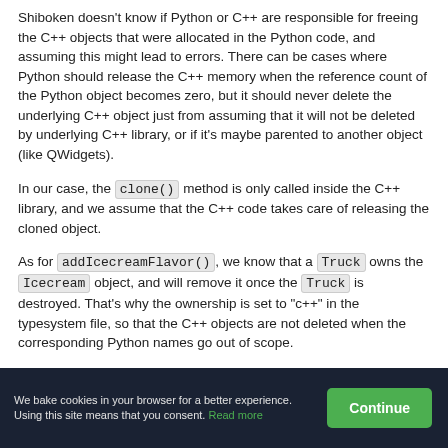Shiboken doesn't know if Python or C++ are responsible for freeing the C++ objects that were allocated in the Python code, and assuming this might lead to errors. There can be cases where Python should release the C++ memory when the reference count of the Python object becomes zero, but it should never delete the underlying C++ object just from assuming that it will not be deleted by underlying C++ library, or if it's maybe parented to another object (like QWidgets).
In our case, the clone() method is only called inside the C++ library, and we assume that the C++ code takes care of releasing the cloned object.
As for addIcecreamFlavor(), we know that a Truck owns the Icecream object, and will remove it once the Truck is destroyed. That's why the ownership is set to "c++" in the typesystem file, so that the C++ objects are not deleted when the corresponding Python names go out of scope.
We bake cookies in your browser for a better experience. Using this site means that you consent. Read more